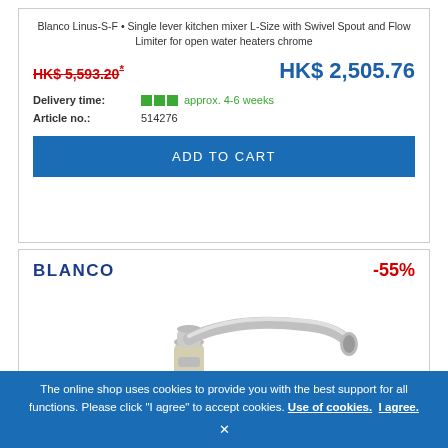Blanco Linus-S-F - Single lever kitchen mixer L-Size with Swivel Spout and Flow Limiter for open water heaters chrome
HK$ 5,593.20*
HK$ 2,505.76
Delivery time: approx. 4-6 weeks
Article no.: 514276
ADD TO CART
BLANCO
-55%
[Figure (photo): Chrome kitchen faucet/mixer tap with swivel spout shown in a product photo]
The online shop uses cookies to provide you with the best support for all functions. Please click "I agree" to accept cookies. Use of cookies. I agree. ×